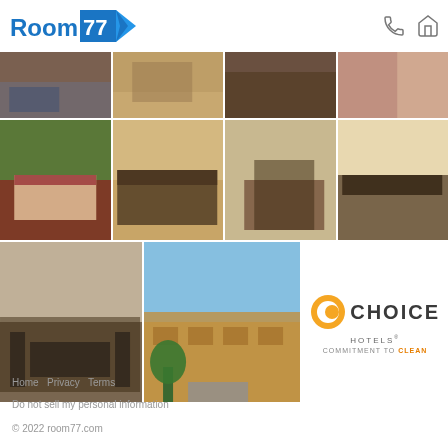[Figure (logo): Room 77 logo — blue text with blue chevron badge]
[Figure (photo): Grid of hotel room photos: guest room, breakfast area, dining area, exterior, and Choice Hotels Commitment to Clean logo]
Home  Privacy  Terms
Do not sell my personal information
© 2022 room77.com